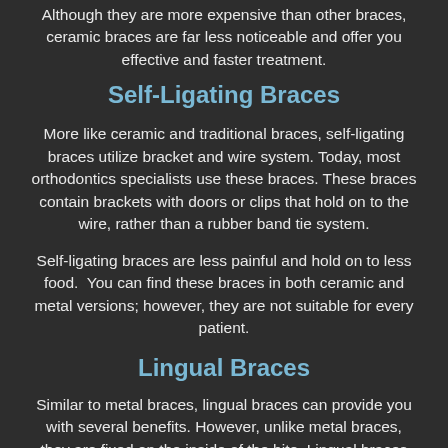Although they are more expensive than other braces, ceramic braces are far less noticeable and offer you effective and faster treatment.
Self-Ligating Braces
More like ceramic and traditional braces, self-ligating braces utilize bracket and wire system. Today, most orthodontics specialists use these braces. These braces contain brackets with doors or clips that hold on to the wire, rather than a rubber band tie system.
Self-ligating braces are less painful and hold on to less food.  You can find these braces in both ceramic and metal versions; however, they are not suitable for every patient.
Lingual Braces
Similar to metal braces, lingual braces can provide you with several benefits. However, unlike metal braces, they are fixed on the inside of the bite. Lingual braces are as effective as traditional braces; yet, they can't be